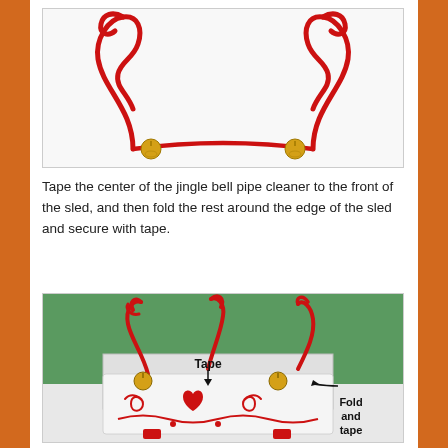[Figure (photo): Red pipe cleaner shaped into reindeer antlers with jingle bells attached, laid flat on white background]
Tape the center of the jingle bell pipe cleaner to the front of the sled, and then fold the rest around the edge of the sled and secure with tape.
[Figure (photo): Paper sled craft with red pipe cleaner antlers and jingle bells attached, showing 'Tape' arrow pointing down and 'Fold and tape' label on the right side]